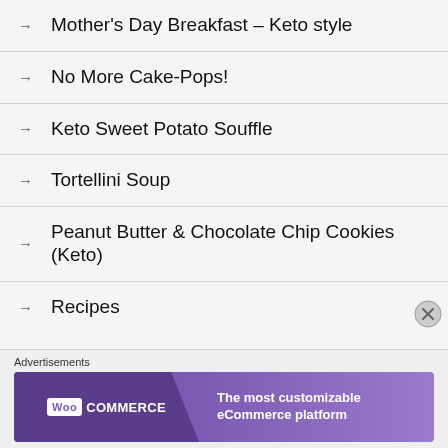Mother's Day Breakfast – Keto style
No More Cake-Pops!
Keto Sweet Potato Souffle
Tortellini Soup
Peanut Butter & Chocolate Chip Cookies (Keto)
Recipes
Advertisements
[Figure (other): WooCommerce advertisement banner: 'The most customizable eCommerce platform']